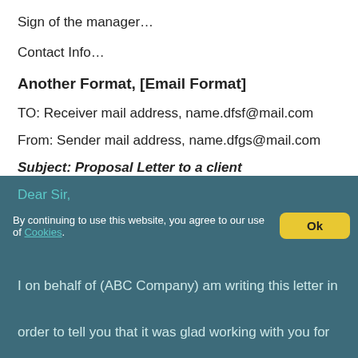Sign of the manager…
Contact Info…
Another Format, [Email Format]
TO: Receiver mail address, name.dfsf@mail.com
From: Sender mail address, name.dfgs@mail.com
Subject:  Proposal Letter to a client
Dear Sir,
By continuing to use this website, you agree to our use of Cookies.
I on behalf of (ABC Company) am writing this letter in order to tell you that it was glad working with you for (years) and now as the contract between us is complete; I would request you to continue working